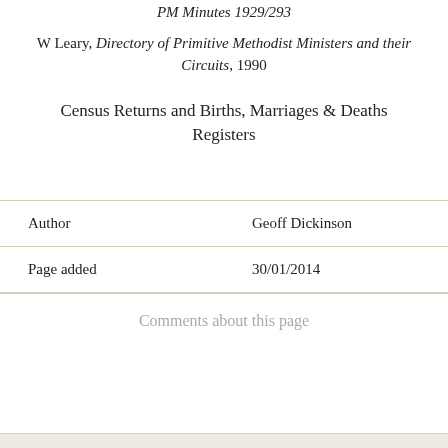PM Minutes 1929/293
W Leary, Directory of Primitive Methodist Ministers and their Circuits, 1990
Census Returns and Births, Marriages & Deaths Registers
|  |  |
| --- | --- |
| Author | Geoff Dickinson |
| Page added | 30/01/2014 |
Comments about this page